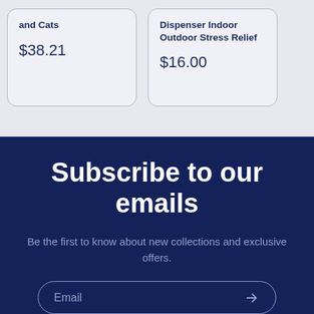and Cats
$38.21
Dispenser Indoor Outdoor Stress Relief
$16.00
Subscribe to our emails
Be the first to know about new collections and exclusive offers.
Email